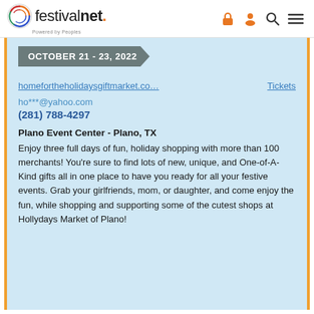festivalnet. Powered by Peoples
OCTOBER 21 - 23, 2022
homefortheholidaysgiftmarket.co...   Tickets
ho***@yahoo.com
(281) 788-4297
Plano Event Center - Plano, TX
Enjoy three full days of fun, holiday shopping with more than 100 merchants! You're sure to find lots of new, unique, and One-of-A-Kind gifts all in one place to have you ready for all your festive events. Grab your girlfriends, mom, or daughter, and come enjoy the fun, while shopping and supporting some of the cutest shops at Hollydays Market of Plano!